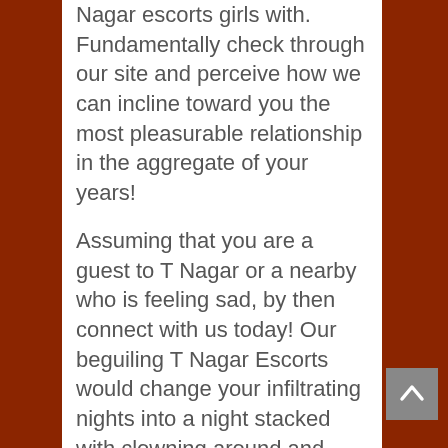Nagar escorts girls with. Fundamentally check through our site and perceive how we can incline toward you the most pleasurable relationship in the aggregate of your years!
Assuming that you are a guest to T Nagar or a nearby who is feeling sad, by then connect with us today! Our beguiling T Nagar Escorts would change your infiltrating nights into a night stacked with clowning around and energy. Our escorts recognize how to satisfy a man and his requirements in their very own stand-apart ways! So book one of our perfect escorts and take her out on a contemplative date and perceive how splendid a night can get! Got a get-together coming up? Phenomenal! Take one of our entrancing escorts in T Nagar with you and become the mark of intermingling of interest of the get-together! You can correspondingly see the